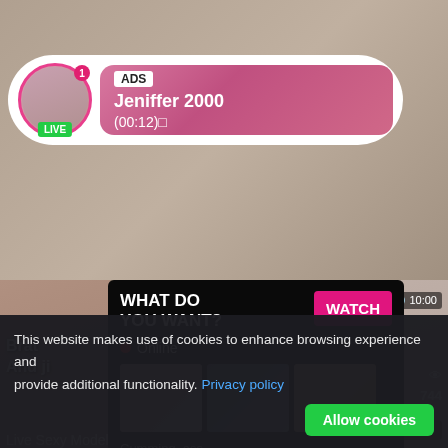[Figure (screenshot): Adult content website screenshot showing multiple video thumbnails and popup advertisements]
ADS
Jeniffer 2000
(00:12)
WHAT DO YOU WANT?
WATCH
Online
Cumming, ass fucking, squirt or...
• ADS
Brat
And ji
Flirt4Free
Live Sexy Models
sumptuous nubile
This website makes use of cookies to enhance browsing experience and provide additional functionality. Privacy policy
Allow cookies